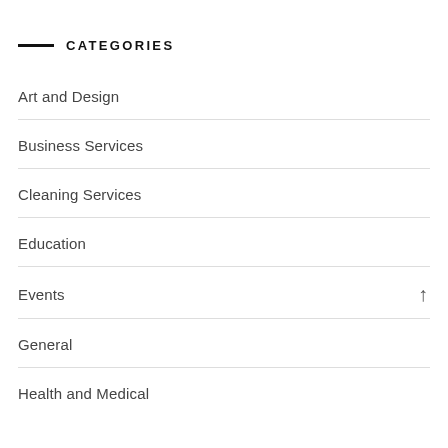CATEGORIES
Art and Design
Business Services
Cleaning Services
Education
Events
General
Health and Medical